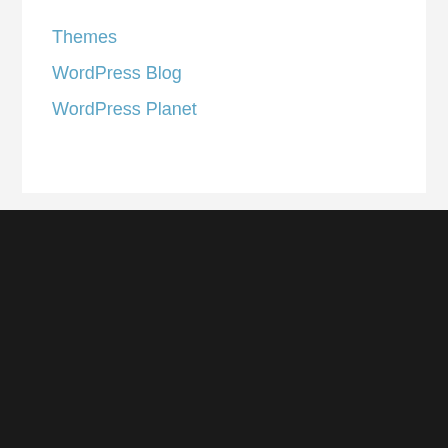Themes
WordPress Blog
WordPress Planet
Please contact us by visiting the following page:
Contact - Your Right Decision